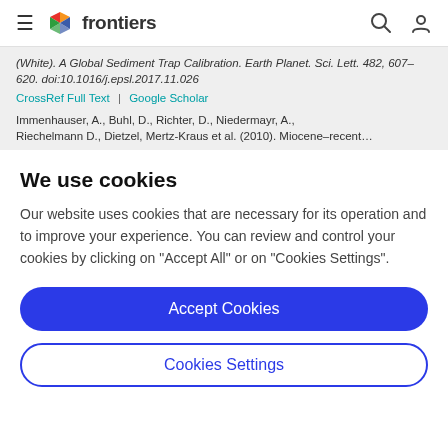frontiers (navigation bar with logo, search, and user icons)
(White). A Global Sediment Trap Calibration. Earth Planet. Sci. Lett. 482, 607–620. doi:10.1016/j.epsl.2017.11.026
CrossRef Full Text | Google Scholar
Immenhauser, A., Buhl, D., Richter, D., Niedermayr, A.,
We use cookies
Our website uses cookies that are necessary for its operation and to improve your experience. You can review and control your cookies by clicking on "Accept All" or on "Cookies Settings".
Accept Cookies
Cookies Settings